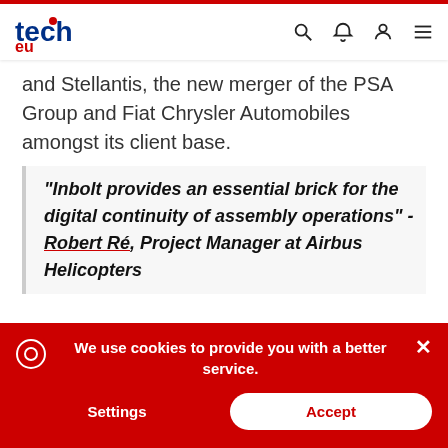tech.eu
and Stellantis, the new merger of the PSA Group and Fiat Chrysler Automobiles amongst its client base.
"Inbolt provides an essential brick for the digital continuity of assembly operations" - Robert Ré, Project Manager at Airbus Helicopters
Inbolt's €3 million Seed round was led by BioNTech deeptech investor MIC Capital and
We use cookies to provide you with a better service.
Settings
Accept